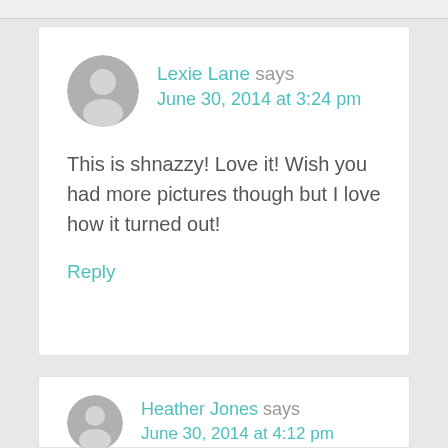Lexie Lane says
June 30, 2014 at 3:24 pm

This is shnazzy! Love it! Wish you had more pictures though but I love how it turned out!

Reply
Heather Jones says
June 30, 2014 at 4:12 pm